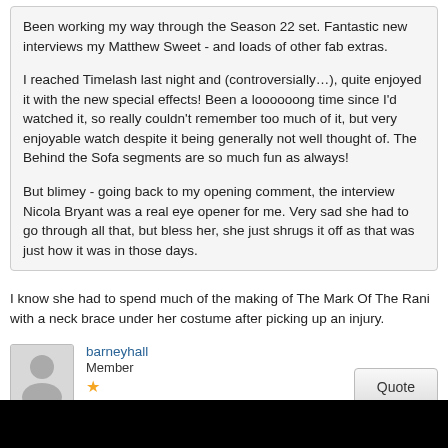Been working my way through the Season 22 set. Fantastic new interviews my Matthew Sweet - and loads of other fab extras.

I reached Timelash last night and (controversially…), quite enjoyed it with the new special effects! Been a loooooong time since I'd watched it, so really couldn't remember too much of it, but very enjoyable watch despite it being generally not well thought of. The Behind the Sofa segments are so much fun as always!

But blimey - going back to my opening comment, the interview Nicola Bryant was a real eye opener for me. Very sad she had to go through all that, but bless her, she just shrugs it off as that was just how it was in those days.
I know she had to spend much of the making of The Mark Of The Rani with a neck brace under her costume after picking up an injury.
barneyhall
Member
Jul 13, 2022 at 1:51pm
RhysH likes this